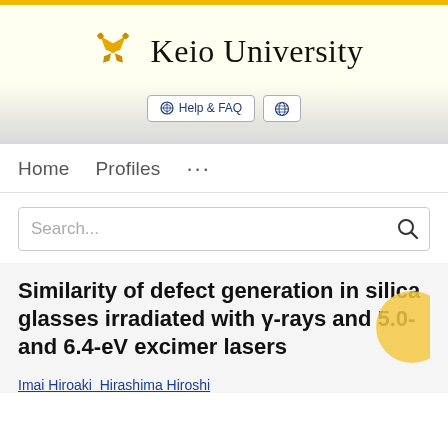[Figure (logo): Keio University logo with crossed pen nibs in gold and university name in serif font]
Help & FAQ
Home   Profiles   ...
Search...
Similarity of defect generation in silica glasses irradiated with γ-rays and 5.0- and 6.4-eV excimer lasers
Imai Hiroaki  Hirashima Hiroshi